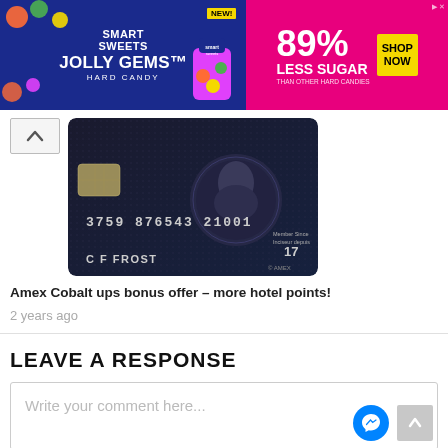[Figure (other): Smart Sweets Jolly Gems Hard Candy advertisement banner. Blue left section with Smart Sweets logo and Jolly Gems Hard Candy text. Pink right section with '89% LESS SUGAR THAN OTHER HARD CANDIES' and yellow 'SHOP NOW' button.]
[Figure (other): Photo of an American Express Cobalt dark-colored credit card with card number 3759 876543 21001, name C F FROST, and expiry 17, featuring a Centurion medallion emblem in the center.]
Amex Cobalt ups bonus offer – more hotel points!
2 years ago
LEAVE A RESPONSE
Write your comment here...